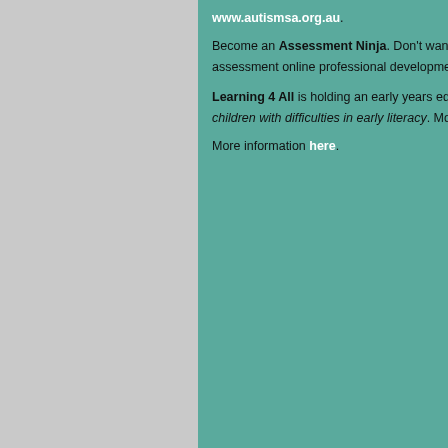www.autismsa.org.au. Become an Assessment Ninja. Don't want to give up your holidays for face-to-face PD? Join this innovative formative assessment online professional development that you can work through with your students. Find out more here. Learning 4 All is holding an early years educator workshop (ages 3-8), Speech & Language: Exploring strategies to assist children with difficulties in early literacy. Monday 1 May, 9.00am – 3.30pm, The Highway, 290 Anzac Highway, Plympton $140. More information here.
This email was sent by the Teachers Registration 70 Pirie Street, Adelaide SA Website: www.trb.sa.edu.au | Email: info@trb...